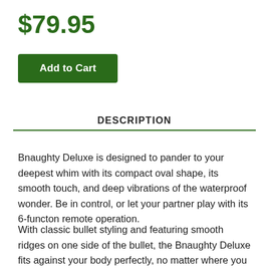$79.95
Add to Cart
DESCRIPTION
Bnaughty Deluxe is designed to pander to your deepest whim with its compact oval shape, its smooth touch, and deep vibrations of the waterproof wonder. Be in control, or let your partner play with its 6-functon remote operation.
With classic bullet styling and featuring smooth ridges on one side of the bullet, the Bnaughty Deluxe fits against your body perfectly, no matter where you choose to stroke. It is